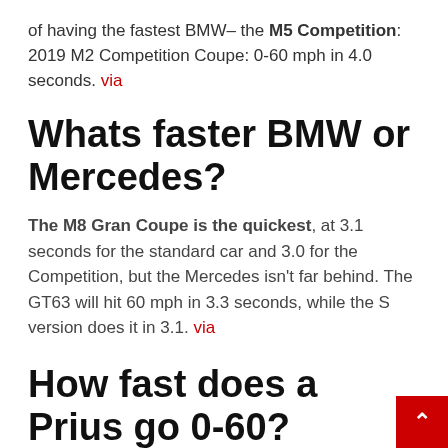of having the fastest BMW– the M5 Competition: 2019 M2 Competition Coupe: 0-60 mph in 4.0 seconds. via
Whats faster BMW or Mercedes?
The M8 Gran Coupe is the quickest, at 3.1 seconds for the standard car and 3.0 for the Competition, but the Mercedes isn't far behind. The GT63 will hit 60 mph in 3.3 seconds, while the S version does it in 3.1. via
How fast does a Prius go 0-60?